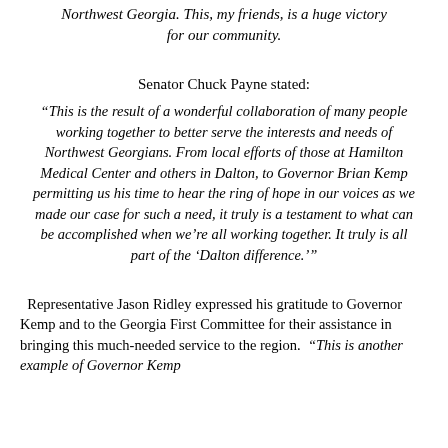Northwest Georgia. This, my friends, is a huge victory for our community.
Senator Chuck Payne stated:
“This is the result of a wonderful collaboration of many people working together to better serve the interests and needs of Northwest Georgians. From local efforts of those at Hamilton Medical Center and others in Dalton, to Governor Brian Kemp permitting us his time to hear the ring of hope in our voices as we made our case for such a need, it truly is a testament to what can be accomplished when we’re all working together. It truly is all part of the ‘Dalton difference.’”
Representative Jason Ridley expressed his gratitude to Governor Kemp and to the Georgia First Committee for their assistance in bringing this much-needed service to the region. “This is another example of Governor Kemp serving Georgians from Hartigan’s work…